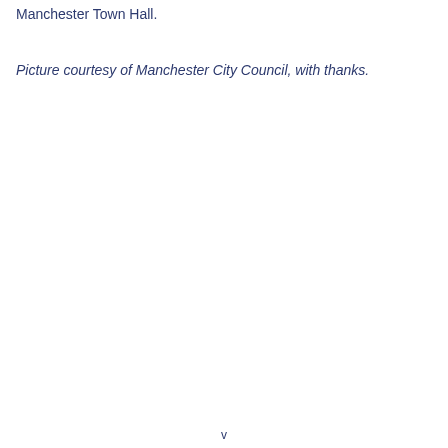Manchester Town Hall.
Picture courtesy of Manchester City Council, with thanks.
v